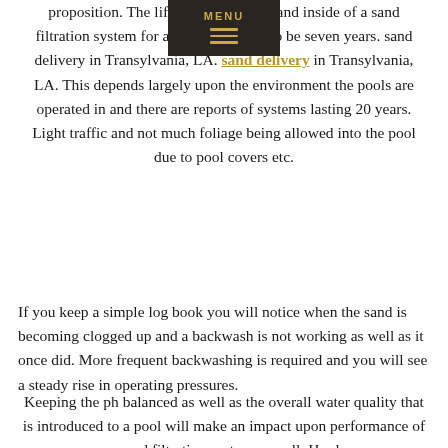proposition. The life of the average sand inside of a sand filtration system for a pool is thought to be seven years. sand delivery in Transylvania, LA. sand delivery in Transylvania, LA. This depends largely upon the environment the pools are operated in and there are reports of systems lasting 20 years. Light traffic and not much foliage being allowed into the pool due to pool covers etc.
If you keep a simple log book you will notice when the sand is becoming clogged up and a backwash is not working as well as it once did. More frequent backwashing is required and you will see a steady rise in operating pressures.
Keeping the ph balanced as well as the overall water quality that is introduced to a pool will make an impact upon performance of a sand filtration system as well. Hard